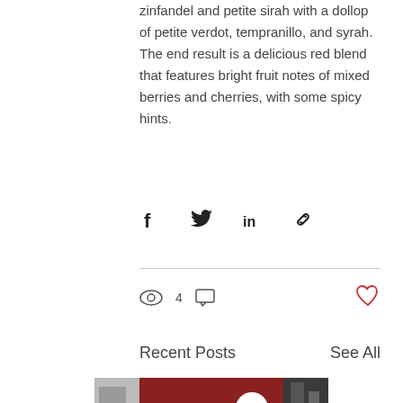zinfandel and petite sirah with a dollop of petite verdot, tempranillo, and syrah. The end result is a delicious red blend that features bright fruit notes of mixed berries and cherries, with some spicy hints.
[Figure (infographic): Social share icons: Facebook (f), Twitter (bird), LinkedIn (in), and a link/chain icon]
4 views, 0 comments, heart/like button
Recent Posts
See All
[Figure (photo): Three thumbnail images of recent blog posts at the bottom of the page]